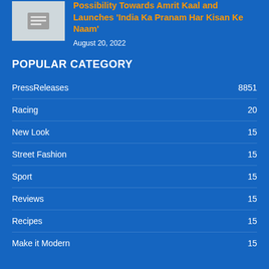[Figure (other): Article thumbnail image placeholder with document icon]
Possibility Towards Amrit Kaal and Launches 'India Ka Pranam Har Kisan Ke Naam'
August 20, 2022
POPULAR CATEGORY
PressReleases 8851
Racing 20
New Look 15
Street Fashion 15
Sport 15
Reviews 15
Recipes 15
Make it Modern 15